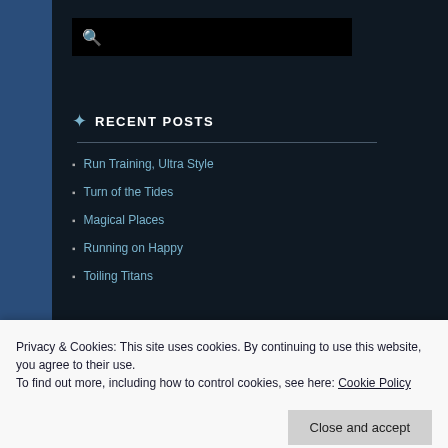[Figure (screenshot): Search bar with magnifying glass icon on dark background]
RECENT POSTS
Run Training, Ultra Style
Turn of the Tides
Magical Places
Running on Happy
Toiling Titans
Privacy & Cookies: This site uses cookies. By continuing to use this website, you agree to their use.
To find out more, including how to control cookies, see here: Cookie Policy
Close and accept
August 2014